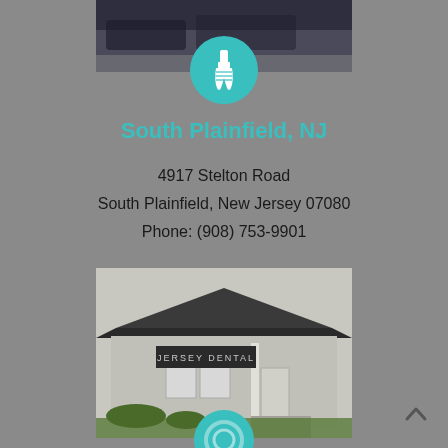[Figure (photo): Top portion of a dental office building exterior, partially visible]
[Figure (illustration): Teal circular icon with a dental implant/tooth icon]
South Plainfield, NJ
4917 Stelton Road
South Plainfield, New Jersey 07080
Phone: (908) 753-9901
[Figure (photo): Exterior photo of Jersey Dental office building with signage reading JERSEY DENTAL]
[Figure (illustration): Partial teal circular icon at bottom of page]